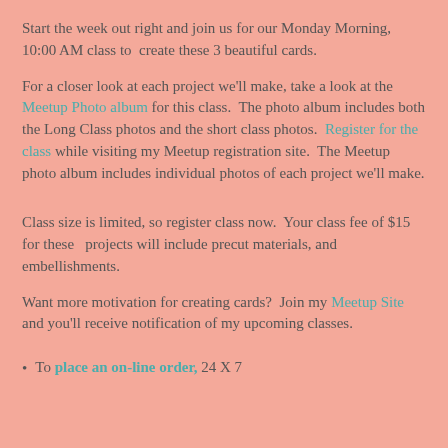Start the week out right and join us for our Monday Morning, 10:00 AM class to  create these 3 beautiful cards.
For a closer look at each project we'll make, take a look at the Meetup Photo album for this class.  The photo album includes both the Long Class photos and the short class photos.  Register for the class while visiting my Meetup registration site.  The Meetup photo album includes individual photos of each project we'll make.
Class size is limited, so register class now.  Your class fee of $15 for these   projects will include precut materials, and embellishments.
Want more motivation for creating cards?  Join my Meetup Site and you'll receive notification of my upcoming classes.
To place an on-line order, 24 X 7